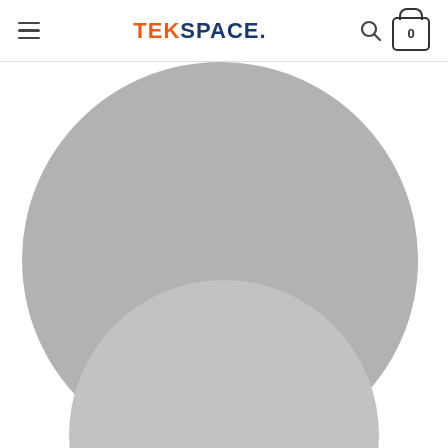TEKSPACE. navigation bar with hamburger menu, search icon, and cart (0)
[Figure (illustration): Gray circle profile placeholder for LUCY ANDERSON, CO FOUNDER, with social media icons (Facebook, Twitter, Email, LinkedIn) at bottom]
LUCY ANDERSON
CO FOUNDER
[Figure (illustration): Second gray circle profile placeholder, partially visible at bottom of page]